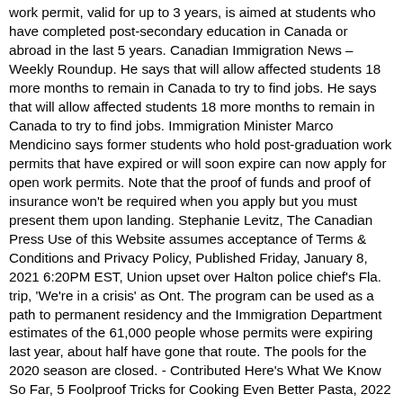work permit, valid for up to 3 years, is aimed at students who have completed post-secondary education in Canada or abroad in the last 5 years. Canadian Immigration News – Weekly Roundup. He says that will allow affected students 18 more months to remain in Canada to try to find jobs. He says that will allow affected students 18 more months to remain in Canada to try to find jobs. Immigration Minister Marco Mendicino says former students who hold post-graduation work permits that have expired or will soon expire can now apply for open work permits. Note that the proof of funds and proof of insurance won't be required when you apply but you must present them upon landing. Stephanie Levitz, The Canadian Press Use of this Website assumes acceptance of Terms & Conditions and Privacy Policy, Published Friday, January 8, 2021 6:20PM EST, Union upset over Halton police chief's Fla. trip, 'We're in a crisis' as Ont. The program can be used as a path to permanent residency and the Immigration Department estimates of the 61,000 people whose permits were expiring last year, about half have gone that route. The pools for the 2020 season are closed. - Contributed Here's What We Know So Far, 5 Foolproof Tricks for Cooking Even Better Pasta, 2022 Ford Maverick Could Be a True Compact Truck, 9 report adverse reactions after COVID-19 vaccinations: Health Canada, Journalists recount harrowing attacks amid Capitol riot,